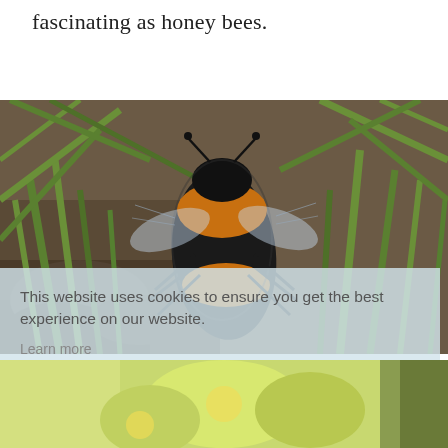fascinating as honey bees.
[Figure (photo): Close-up photo of a bumblebee on soil and grass, showing fuzzy black and orange body with wings visible]
This website uses cookies to ensure you get the best experience on our website.
Learn more
Got it!
[Figure (photo): Bottom strip showing yellow-green flowers, partial view]